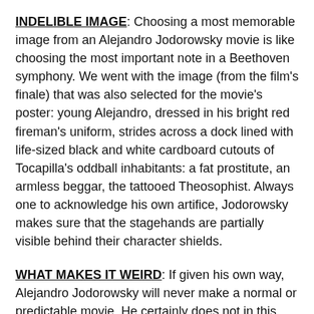INDELIBLE IMAGE: Choosing a most memorable image from an Alejandro Jodorowsky movie is like choosing the most important note in a Beethoven symphony. We went with the image (from the film's finale) that was also selected for the movie's poster: young Alejandro, dressed in his bright red fireman's uniform, strides across a dock lined with life-sized black and white cardboard cutouts of Tocapilla's oddball inhabitants: a fat prostitute, an armless beggar, the tattooed Theosophist. Always one to acknowledge his own artifice, Jodorowsky makes sure that the stagehands are partially visible behind their character shields.
WHAT MAKES IT WEIRD: If given his own way, Alejandro Jodorowsky will never make a normal or predictable movie. He certainly does not in this psychosurreal autobiography that features an ocean's worth of sardines raining on Tocapilla's shore, a fireman's emblem that comes to life to suffocate its wearer, and a woman who cures her husband of the plague